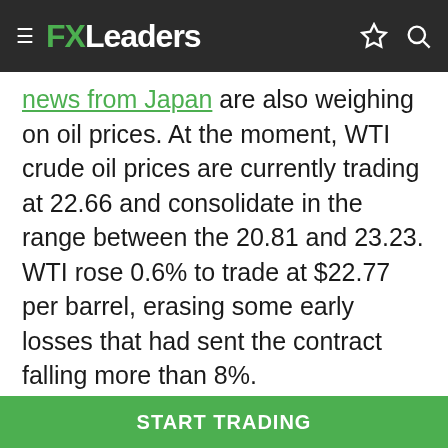FXLeaders
news from Japan are also weighing on oil prices. At the moment, WTI crude oil prices are currently trading at 22.66 and consolidate in the range between the 20.81 and 23.23. WTI rose 0.6% to trade at $22.77 per barrel, erasing some early losses that had sent the contract falling more than 8%.
However, the prices of crude oil have dropped due to the coronavirus outbreak because of which there's a dramatic slowdown in travel and business activity globally, thus powerhouse producers Saudi Arabia and Russia prepare to raise production.
Before the weekend, the OPEC Secretary-General Mohammad Barkindo invited Texas Railroad
START TRADING